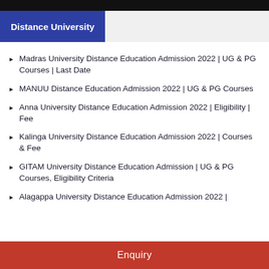Distance University
Madras University Distance Education Admission 2022 | UG & PG Courses | Last Date
MANUU Distance Education Admission 2022 | UG & PG Courses
Anna University Distance Education Admission 2022 | Eligibility | Fee
Kalinga University Distance Education Admission 2022 | Courses & Fee
GITAM University Distance Education Admission | UG & PG Courses, Eligibility Criteria
Alagappa University Distance Education Admission 2022 |
Enquiry